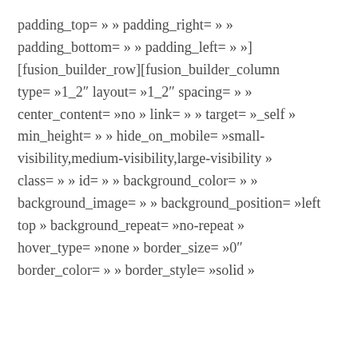padding_top= » » padding_right= » » padding_bottom= » » padding_left= » »] [fusion_builder_row][fusion_builder_column type= »1_2″ layout= »1_2″ spacing= » » center_content= »no » link= » » target= »_self » min_height= » » hide_on_mobile= »small-visibility,medium-visibility,large-visibility » class= » » id= » » background_color= » » background_image= » » background_position= »left top » background_repeat= »no-repeat » hover_type= »none » border_size= »0″ border_color= » » border_style= »solid »